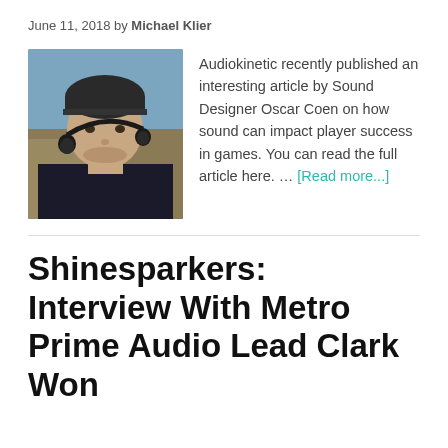June 11, 2018 by Michael Klier
[Figure (photo): Portrait photo of a young man wearing a dark beanie hat and headphones around his neck, outdoors with blurred background.]
Audiokinetic recently published an interesting article by Sound Designer Oscar Coen on how sound can impact player success in games. You can read the full article here. … [Read more...]
Shinesparkers: Interview With Metro Prime Audio Lead Clark Won